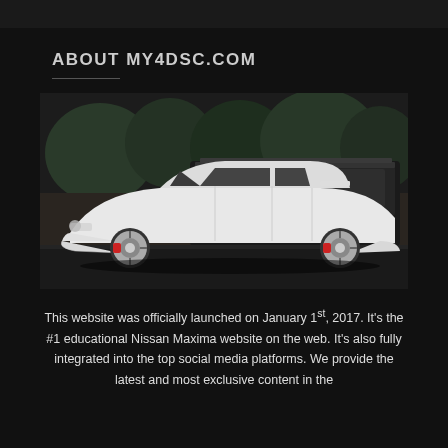ABOUT MY4DSC.COM
[Figure (photo): White lowered Nissan Maxima sedan with aftermarket wheels parked on a street, with a black SUV and trees in the background.]
This website was officially launched on January 1st, 2017. It's the #1 educational Nissan Maxima website on the web. It's also fully integrated into the top social media platforms. We provide the latest and most exclusive content in the